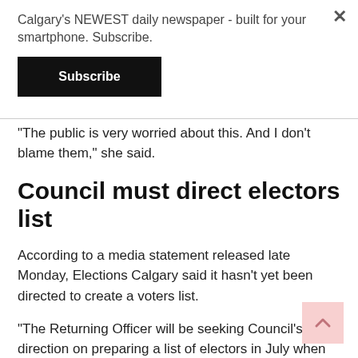Calgary's NEWEST daily newspaper - built for your smartphone. Subscribe.
Subscribe
“The public is very worried about this. And I don’t blame them,” she said.
Council must direct electors list
According to a media statement released late Monday, Elections Calgary said it hasn’t yet been directed to create a voters list.
“The Returning Officer will be seeking Council’s direction on preparing a list of electors in July when amendments to the Election Bylaw (35M2018) will be brought forward,” the statement read.